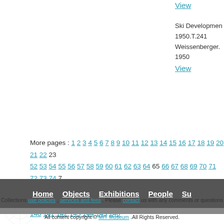View
Ski Development
1950.T.241
Weissenberger.
1950
View
More pages : 1 2 3 4 5 6 7 8 9 10 11 12 13 14 15 16 17 18 19 20 21 22 23... 52 53 54 55 56 57 58 59 60 61 62 63 64 65 66 67 68 69 70 71 72 73 74 7... 103 104 105 106 107 108 109 110 111 112 113 114 115 116 117 118 119... 140 141 142 143 144 145 146
Home Objects Exhibitions People Su...
Collections use policies , services and fees . Please contact us with any comments or questions
All content copyright © MIT Museum .All Rights Reserved.